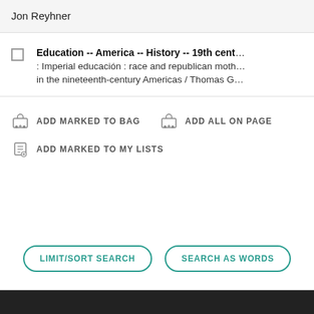Jon Reyhner
Education -- America -- History -- 19th cent…
: Imperial educación : race and republican moth…
in the nineteenth-century Americas / Thomas G…
ADD MARKED TO BAG   ADD ALL ON PAGE
ADD MARKED TO MY LISTS
LIMIT/SORT SEARCH
SEARCH AS WORDS